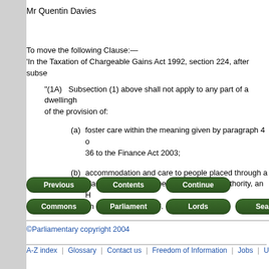Mr Quentin Davies
To move the following Clause:—
'In the Taxation of Chargeable Gains Act 1992, section 224, after subse
"(1A)   Subsection (1) above shall not apply to any part of a dwellingh of the provision of:
(a)   foster care within the meaning given by paragraph 4 o 36 to the Finance Act 2003;
(b)   accommodation and care to people placed through a placement scheme operated by a local authority, an H an independent body.'.
[Figure (screenshot): Navigation buttons: Previous, Contents, Continue in dark green rounded rectangles]
[Figure (screenshot): Navigation buttons: Commons, Parliament, Lords, Search, E... in dark green rounded rectangles]
©Parliamentary copyright 2004
A-Z index | Glossary | Contact us | Freedom of Information | Jobs | Using this w